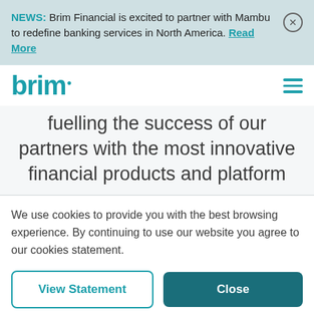NEWS: Brim Financial is excited to partner with Mambu to redefine banking services in North America. Read More
[Figure (logo): Brim Financial logo — 'brim' in teal bold font with a small dot accent]
fuelling the success of our partners with the most innovative financial products and platform
We use cookies to provide you with the best browsing experience. By continuing to use our website you agree to our cookies statement.
View Statement | Close